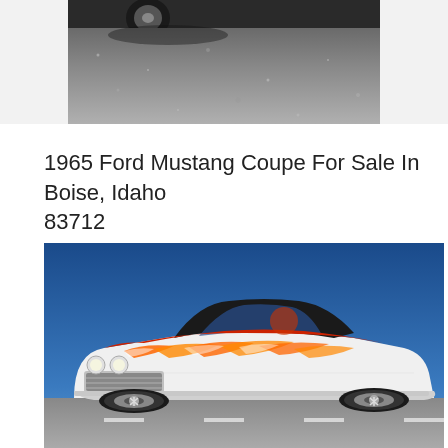[Figure (photo): Top portion of a car photo showing wheels/undercarriage area and asphalt pavement below]
1965 Ford Mustang Coupe For Sale In Boise, Idaho 83712
[Figure (photo): Classic red and white custom car (appears to be a late 1950s/early 1960s Chevrolet Impala) with flame graphics on the hood, lowrider stance, chrome wheels, photographed on a road with blue sky background]